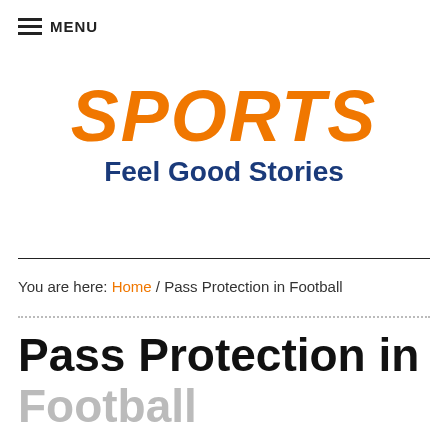≡ MENU
[Figure (logo): Sports Feel Good Stories logo — SPORTS in large orange italic bold text, Feel Good Stories in dark blue bold below]
You are here: Home / Pass Protection in Football
Pass Protection in Football